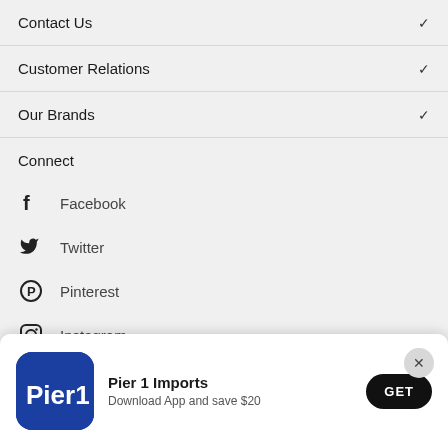Contact Us
Customer Relations
Our Brands
Connect
Facebook
Twitter
Pinterest
Instagram
Youtube
Pier 1 Imports — Download App and save $20 — GET